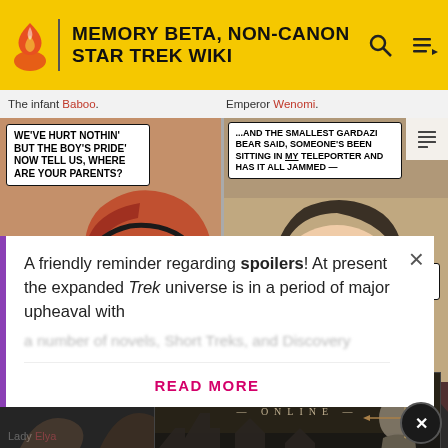MEMORY BETA, NON-CANON STAR TREK WIKI
The infant Baboo.
Emperor Wenomi.
[Figure (illustration): Comic panel left: Woman with red hair speaking 'WE'VE HURT NOTHIN' BUT THE BOY'S PRIDE' NOW TELL US, WHERE ARE YOUR PARENTS?' with a man partially visible in lower left]
[Figure (illustration): Comic panel right: Man with stern face, speech bubble '...AND THE SMALLEST GARDAZI BEAR SAID, SOMEONE'S BEEN SITTING IN MY TELEPORTER AND HAS IT ALL JAMMED — ARRRGH! OFF MY LAP, YOU UNWORTHY CHILD!']
A friendly reminder regarding spoilers! At present the expanded Trek universe is in a period of major upheaval with
READ MORE
Lady Elya
[Figure (screenshot): Advertisement for The Elder Scrolls Online, © 2022 BETHESDA SOFTWORKS LLC.]
Niki's story time.